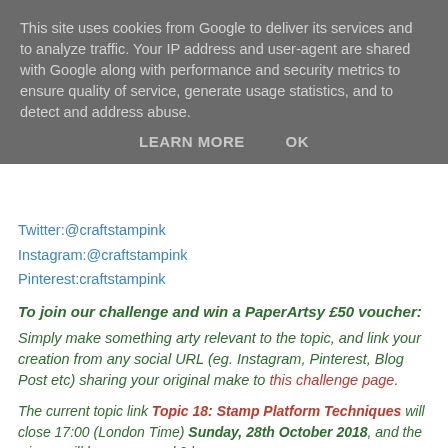This site uses cookies from Google to deliver its services and to analyze traffic. Your IP address and user-agent are shared with Google along with performance and security metrics to ensure quality of service, generate usage statistics, and to detect and address abuse.
LEARN MORE    OK
Twitter:@craftstampink
Instagram:@craftstampink
Pinterest:craftstampink
To join our challenge and win a PaperArtsy £50 voucher:
Simply make something arty relevant to the topic, and link your creation from any social URL (eg. Instagram, Pinterest, Blog Post etc) sharing your original make to this challenge page.
The current topic link Topic 18: Stamp Platform Techniques will close 17:00 (London Time) Sunday, 28th October 2018, and the winner will be announced 2 hours